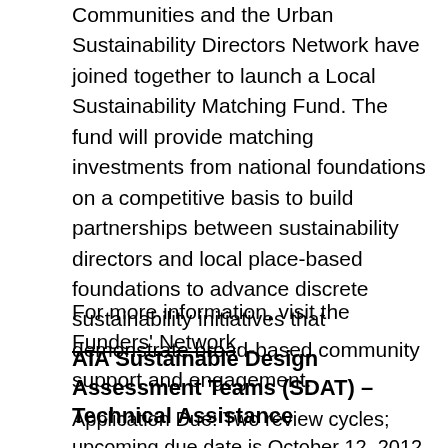Communities and the Urban Sustainability Directors Network have joined together to launch a Local Sustainability Matching Fund. The fund will provide matching investments from national foundations on a competitive basis to build partnerships between sustainability directors and local place-based foundations to advance discrete sustainability initiatives that demonstrate broad-based community support and engagement.
For more information, visit the Funders' Network.
AIA Sustainable Design Assessment Teams (SDAT) – Technical Assistance
Application Due: Two review cycles; upcoming due date is October 12, 2012
Eligible Entities: Committees with a cross-section of